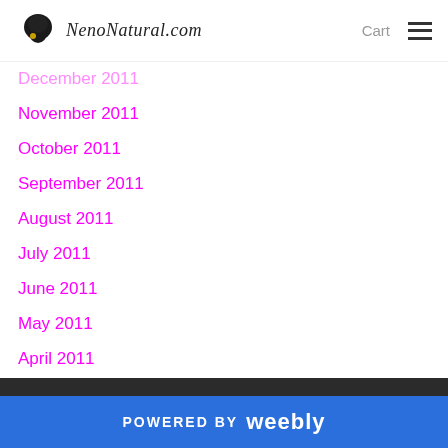NenoNatural.com  Cart
December 2011
November 2011
October 2011
September 2011
August 2011
July 2011
June 2011
May 2011
April 2011
March 2011
POWERED BY weebly